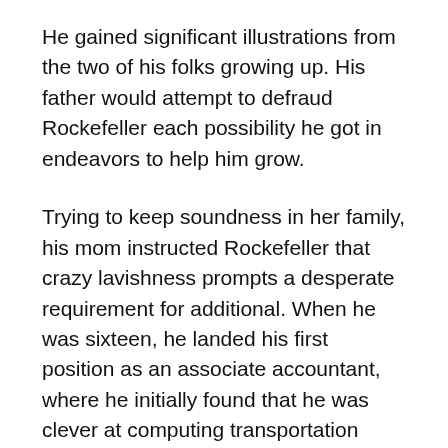He gained significant illustrations from the two of his folks growing up. His father would attempt to defraud Rockefeller each possibility he got in endeavors to help him grow.
Trying to keep soundness in her family, his mom instructed Rockefeller that crazy lavishness prompts a desperate requirement for additional. When he was sixteen, he landed his first position as an associate accountant, where he initially found that he was clever at computing transportation costs.
Although he never earned more than 50 dollars a year filling in as an accountant, Rockefeller dreamt of making $100,000 per day.